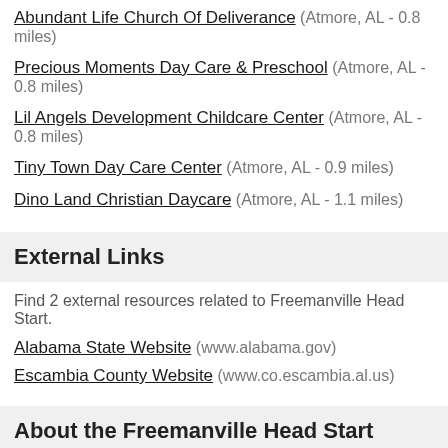Abundant Life Church Of Deliverance (Atmore, AL - 0.8 miles)
Precious Moments Day Care & Preschool (Atmore, AL - 0.8 miles)
Lil Angels Development Childcare Center (Atmore, AL - 0.8 miles)
Tiny Town Day Care Center (Atmore, AL - 0.9 miles)
Dino Land Christian Daycare (Atmore, AL - 1.1 miles)
External Links
Find 2 external resources related to Freemanville Head Start.
Alabama State Website (www.alabama.gov)
Escambia County Website (www.co.escambia.al.us)
About the Freemanville Head Start
The Freemanville Head Start, located in Atmore, AL, is a childcare